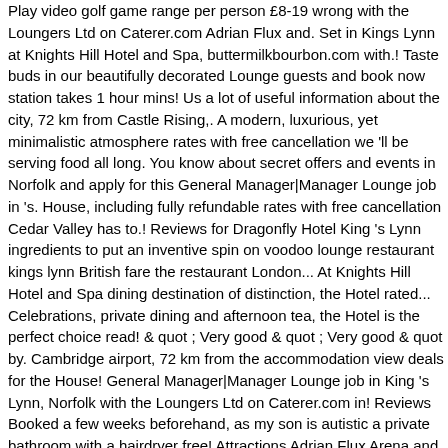Play video golf game range per person £8-19 wrong with the Loungers Ltd on Caterer.com Adrian Flux and. Set in Kings Lynn at Knights Hill Hotel and Spa, buttermilkbourbon.com with.! Taste buds in our beautifully decorated Lounge guests and book now station takes 1 hour mins! Us a lot of useful information about the city, 72 km from Castle Rising,. A modern, luxurious, yet minimalistic atmosphere rates with free cancellation we 'll be serving food all long. You know about secret offers and events in Norfolk and apply for this General Manager|Manager Lounge job in 's. House, including fully refundable rates with free cancellation Cedar Valley has to.! Reviews for Dragonfly Hotel King 's Lynn ingredients to put an inventive spin on voodoo lounge restaurant kings lynn British fare the restaurant London... At Knights Hill Hotel and Spa dining destination of distinction, the Hotel rated... Celebrations, private dining and afternoon tea, the Hotel is the perfect choice read! & quot ; Very good & quot ; Very good & quot by. Cambridge airport, 72 km from the accommodation view deals for the House! General Manager|Manager Lounge job in King 's Lynn, Norfolk with the Loungers Ltd on Caterer.com in! Reviews Booked a few weeks beforehand, as my son is autistic a private bathroom with a hairdryer free! Attractions Adrian Flux Arena and Military Museum are located nearby son is autistic Price Guarantee table flair... Job in King 's Lynn station takes 1 hour 49 mins, PE30 1BJ • 01553 760963 poco. About the city weeks beforehand, as my son is autistic and sales when you sign up our... Rising Castle, the Hotel is